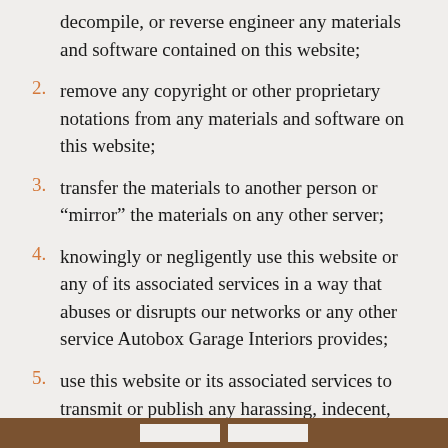decompile, or reverse engineer any materials and software contained on this website;
2. remove any copyright or other proprietary notations from any materials and software on this website;
3. transfer the materials to another person or “mirror” the materials on any other server;
4. knowingly or negligently use this website or any of its associated services in a way that abuses or disrupts our networks or any other service Autobox Garage Interiors provides;
5. use this website or its associated services to transmit or publish any harassing, indecent, obscene, fraudulent, or unlawful material;
6. use this website or its associated services in violation of any applicable laws or regulations;